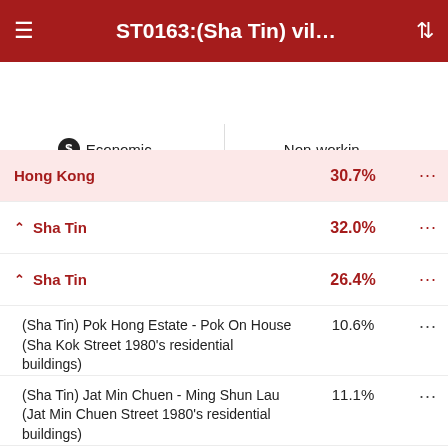ST0163:(Sha Tin) vil...
Economic ∨
Non-workin... ∨
| Non-working population | Students | Non-students |
| --- | --- | --- |
| Hong Kong | 30.7% | ··· |
| ∧ Sha Tin | 32.0% | ··· |
| ∧ Sha Tin | 26.4% | ··· |
| (Sha Tin) Pok Hong Estate - Pok On House (Sha Kok Street 1980's residential buildings) | 10.6% | ··· |
| (Sha Tin) Jat Min Chuen - Ming Shun Lau (Jat Min Chuen Street 1980's residential buildings) | 11.1% | ··· |
| (Sha Tin) Sha Kok Estate - Oriole House (Sha Kok Street 1980's residential buildings) | 11.2% | ··· |
| (Sha Tin) Lek Yuen Estate - Kwai | 11.5% | ··· |